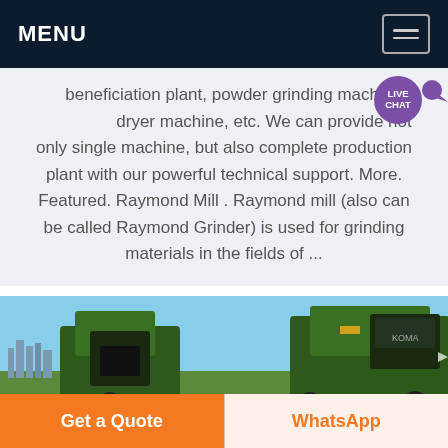MENU
beneficiation plant, powder grinding machine, dryer machine, etc. We can provide not only single machine, but also complete production plant with our powerful technical support. More. Featured. Raymond Mill . Raymond mill (also can be called Raymond Grinder) is used for grinding materials in the fields of ...
[Figure (photo): Photo of heavy green industrial machinery / crushing equipment against a blue sky, with building silhouettes in the background]
Get a Quote
WhatsApp